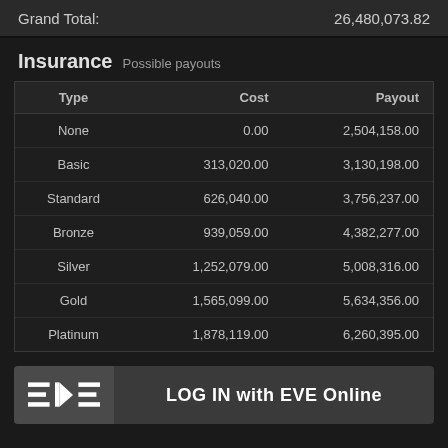Grand Total: 26,480,073.82
Insurance Possible payouts
| Type | Cost | Payout |
| --- | --- | --- |
| None | 0.00 | 2,504,158.00 |
| Basic | 313,020.00 | 3,130,198.00 |
| Standard | 626,040.00 | 3,756,237.00 |
| Bronze | 939,059.00 | 4,382,277.00 |
| Silver | 1,252,079.00 | 5,008,316.00 |
| Gold | 1,565,099.00 | 5,634,356.00 |
| Platinum | 1,878,119.00 | 6,260,395.00 |
[Figure (logo): EVE Online LOG IN with EVE Online button]